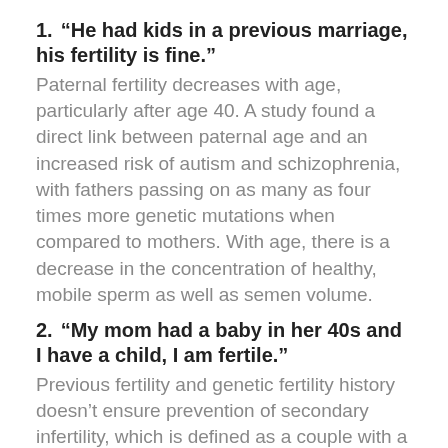1. "He had kids in a previous marriage, his fertility is fine."
Paternal fertility decreases with age, particularly after age 40. A study found a direct link between paternal age and an increased risk of autism and schizophrenia, with fathers passing on as many as four times more genetic mutations when compared to mothers. With age, there is a decrease in the concentration of healthy, mobile sperm as well as semen volume.
2. "My mom had a baby in her 40s and I have a child, I am fertile."
Previous fertility and genetic fertility history doesn't ensure prevention of secondary infertility, which is defined as a couple with a child being unable to conceive again after a year. The Center for Disease Control estimates